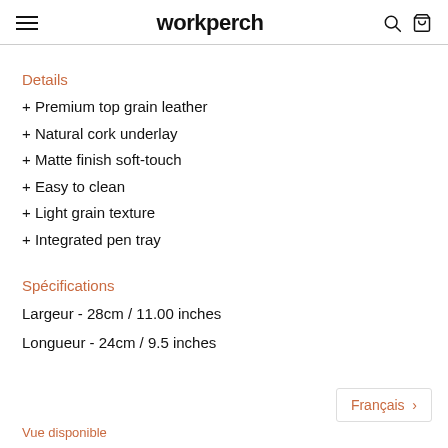workperch
Details
+ Premium top grain leather
+ Natural cork underlay
+ Matte finish soft-touch
+ Easy to clean
+ Light grain texture
+ Integrated pen tray
Spécifications
Largeur - 28cm / 11.00 inches
Longueur - 24cm / 9.5 inches
Français